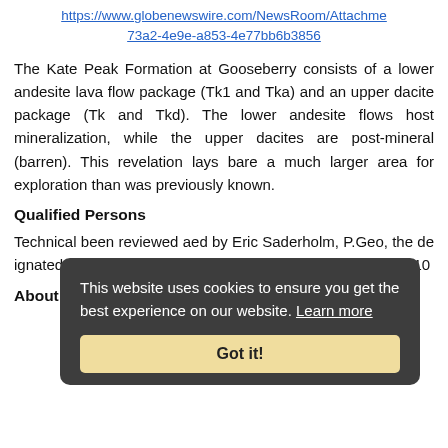https://www.globenewswire.com/NewsRoom/Attachme 73a2-4e9e-a853-4e77bb6b3856
The Kate Peak Formation at Gooseberry consists of a lower andesite lava flow package (Tk1 and Tka) and an upper dacite package (Tk and Tkd). The lower andesite flows host mineralization, while the upper dacites are post-mineral (barren). This revelation lays bare a much larger area for exploration than was previously known.
Qualified Persons
Technical ... been reviewed and approved by Eric Saderholm, P.Geo, the designated Qualified Person (QP) under National Instrument 43-10...
About American Pacific Mining Corp.
This website uses cookies to ensure you get the best experience on our website. Learn more
Got it!